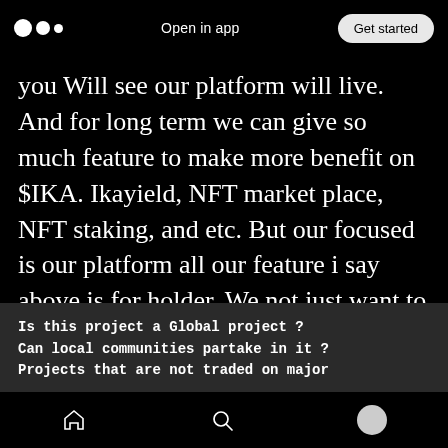Open in app  Get started
you Will see our platform will live. And for long term we can give so much feature to make more benefit on $IKA. Ikayield, NFT market place, NFT staking, and etc. But our focused is our platform all our feature i say above is for holder. We not just want to focus on this roadmap. We want to clear it and make new road. Our long term is still early
Is this project a Global project ?
Can local communities partake in it ?
Projects that are not traded on major
Home  Search  Profile